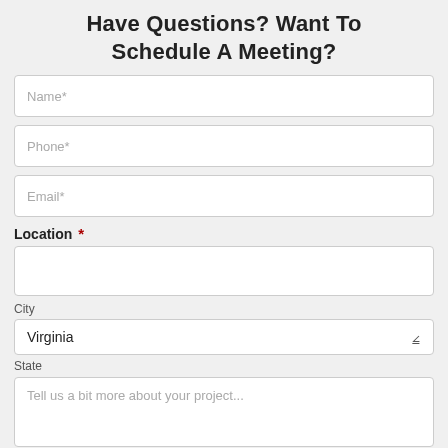Have Questions? Want To Schedule A Meeting?
Name*
Phone*
Email*
Location *
City
Virginia
State
Tell us a bit more about your project...